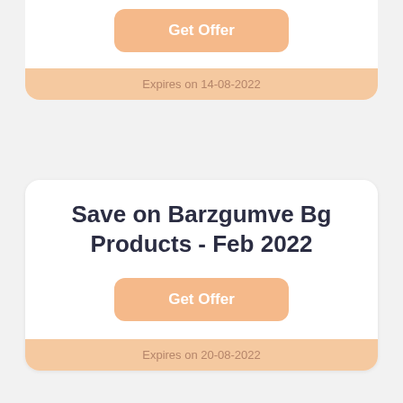Get Offer
Expires on 14-08-2022
Save on Barzgumve Bg Products - Feb 2022
Get Offer
Expires on 20-08-2022